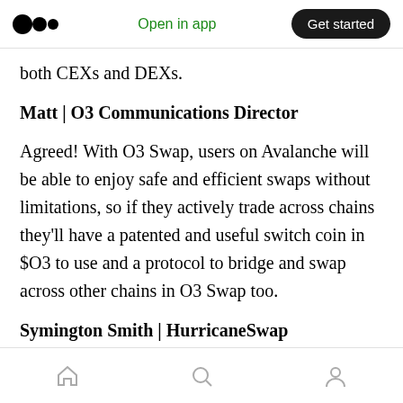Open in app | Get started
both CEXs and DEXs.
Matt | O3 Communications Director
Agreed! With O3 Swap, users on Avalanche will be able to enjoy safe and efficient swaps without limitations, so if they actively trade across chains they'll have a patented and useful switch coin in $O3 to use and a protocol to bridge and swap across other chains in O3 Swap too.
Symington Smith | HurricaneSwap
Home | Search | Profile